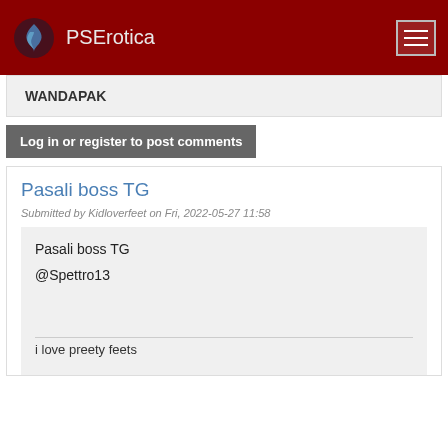PSErotica
WANDAPAK
Log in or register to post comments
Pasali boss TG
Submitted by Kidloverfeet on Fri, 2022-05-27 11:58
Pasali boss TG
@Spettro13
i love preety feets